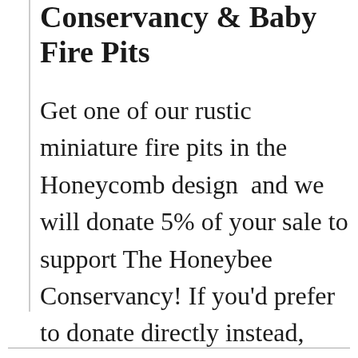Conservancy & Baby Fire Pits
Get one of our rustic miniature fire pits in the Honeycomb design  and we will donate 5% of your sale to support The Honeybee Conservancy! If you'd prefer to donate directly instead, visit https://thehoneybeeconservancy.org